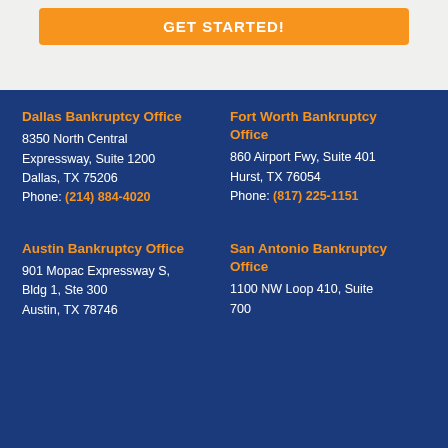GET STARTED!
Dallas Bankruptcy Office
8350 North Central Expressway, Suite 1200
Dallas, TX 75206
Phone: (214) 884-4020
Fort Worth Bankruptcy Office
860 Airport Fwy, Suite 401
Hurst, TX 76054
Phone: (817) 225-1151
Austin Bankruptcy Office
901 Mopac Expressway S, Bldg 1, Ste 300
Austin, TX 78746
San Antonio Bankruptcy Office
1100 NW Loop 410, Suite 700